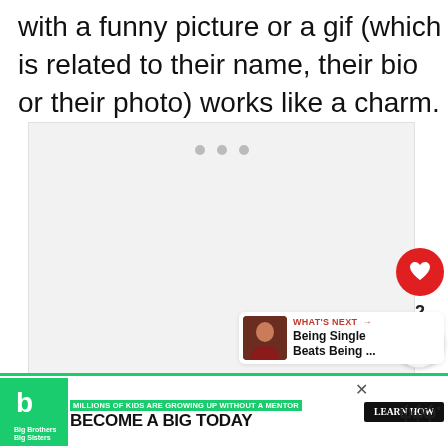with a funny picture or a gif (which is related to their name, their bio or their photo) works like a charm.
[Figure (other): Large light gray placeholder image box with three small gray dots near the top center, acting as a loading indicator or embedded content placeholder. A red circular heart/like button floats on the right side with a count of 2 below it, and a circular share button below that.]
WHAT'S NEXT → Being Single Beats Being ...
MILLIONS OF KIDS ARE GROWING UP WITHOUT A MENTOR BECOME A BIG TODAY Learn How